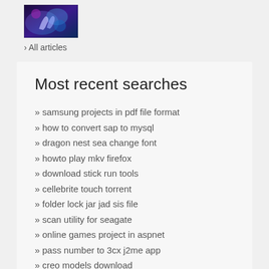[Figure (photo): Small thumbnail image showing a colorful sci-fi or technology themed photo with blue and purple hues]
› All articles
Most recent searches
» samsung projects in pdf file format
» how to convert sap to mysql
» dragon nest sea change font
» howto play mkv firefox
» download stick run tools
» cellebrite touch torrent
» folder lock jar jad sis file
» scan utility for seagate
» online games project in aspnet
» pass number to 3cx j2me app
» creo models download
» matchmover 2012 bible pdf